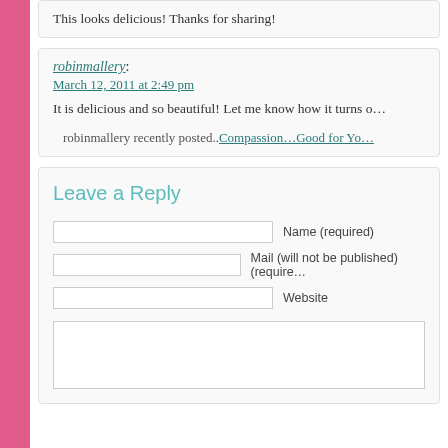This looks delicious! Thanks for sharing!
robinmallery:
March 12, 2011 at 2:49 pm
It is delicious and so beautiful! Let me know how it turns o…
robinmallery recently posted..Compassion…Good for Yo…
Leave a Reply
Name (required)
Mail (will not be published) (require…
Website